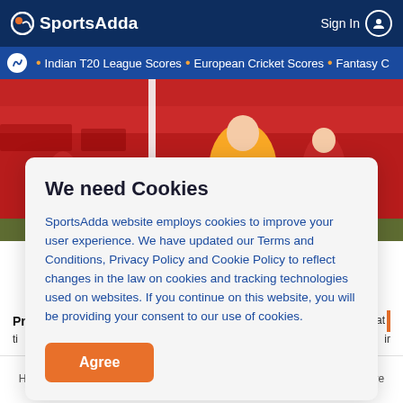SportsAdda   Sign In
• Indian T20 League Scores • European Cricket Scores • Fantasy C
[Figure (photo): Football/soccer match photo showing players in yellow and red kits on a pitch with red stadium seats in background]
We need Cookies
SportsAdda website employs cookies to improve your user experience. We have updated our Terms and Conditions, Privacy Policy and Cookie Policy to reflect changes in the law on cookies and tracking technologies used on websites. If you continue on this website, you will be providing your consent to our use of cookies.
Agree
Home   Cricket Scores   Tips & Predictions   Football   More